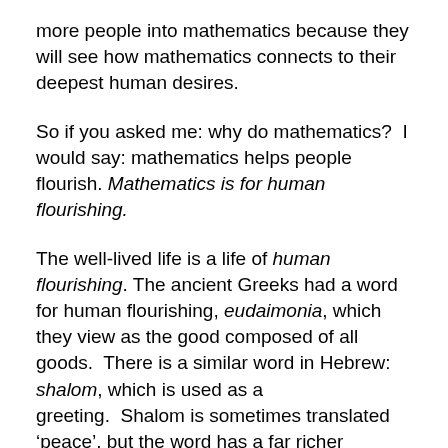more people into mathematics because they will see how mathematics connects to their deepest human desires.
So if you asked me: why do mathematics?  I would say: mathematics helps people flourish. Mathematics is for human flourishing.
The well-lived life is a life of human flourishing. The ancient Greeks had a word for human flourishing, eudaimonia, which they view as the good composed of all goods.  There is a similar word in Hebrew: shalom, which is used as a greeting.  Shalom is sometimes translated ‘peace’, but the word has a far richer context.  To say ‘shalom’ to someone is to wish that they would